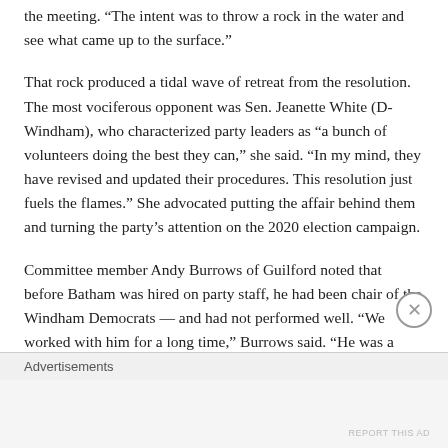the meeting. "The intent was to throw a rock in the water and see what came up to the surface."
That rock produced a tidal wave of retreat from the resolution. The most vociferous opponent was Sen. Jeanette White (D-Windham), who characterized party leaders as “a bunch of volunteers doing the best they can,” she said. “In my mind, they have revised and updated their procedures. This resolution just fuels the flames.” She advocated putting the affair behind them and turning the party’s attention on the 2020 election campaign.
Committee member Andy Burrows of Guilford noted that before Batham was hired on party staff, he had been chair of the Windham Democrats — and had not performed well. “We worked with him for a long time,” Burrows said. “He was a
Advertisements